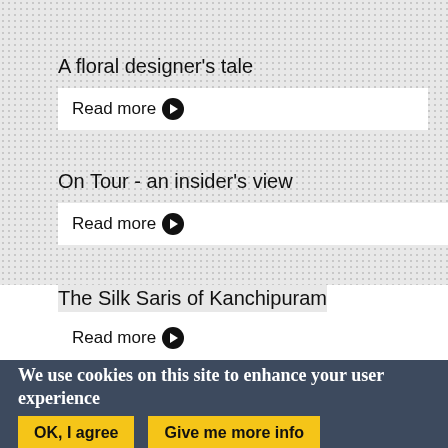A floral designer's tale
Read more ❯
On Tour - an insider's view
Read more ❯
The Silk Saris of Kanchipuram
Read more ❯
We use cookies on this site to enhance your user experience
OK, I agree
Give me more info